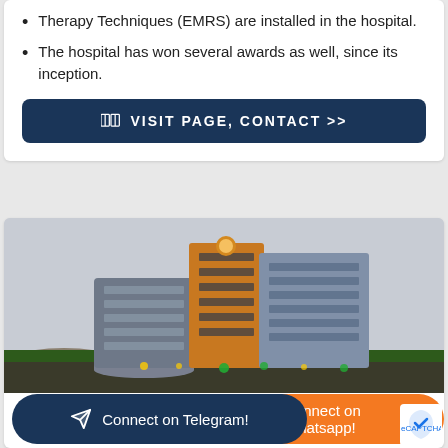Therapy Techniques (EMRS) are installed in the hospital.
The hospital has won several awards as well, since its inception.
VISIT PAGE, CONTACT >>
[Figure (photo): Exterior photograph of a modern multi-story hospital building at dusk with interior and exterior lighting.]
Connect on Telegram!
Connect on Whatsapp!